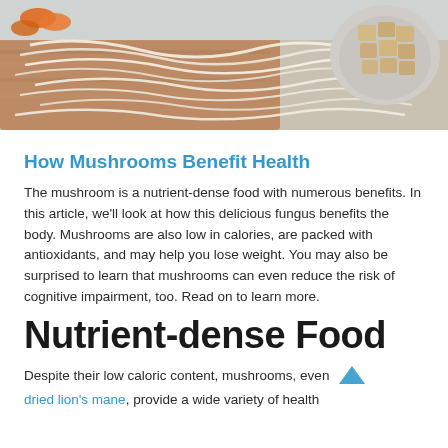[Figure (photo): Food photo showing noodles/rice noodles, carrots, and cubed tofu in a bowl, on a wooden board background]
How Mushrooms Benefit Health
The mushroom is a nutrient-dense food with numerous benefits. In this article, we’ll look at how this delicious fungus benefits the body. Mushrooms are also low in calories, are packed with antioxidants, and may help you lose weight. You may also be surprised to learn that mushrooms can even reduce the risk of cognitive impairment, too. Read on to learn more.
Nutrient-dense Food
Despite their low caloric content, mushrooms, even dried lion’s mane, provide a wide variety of health